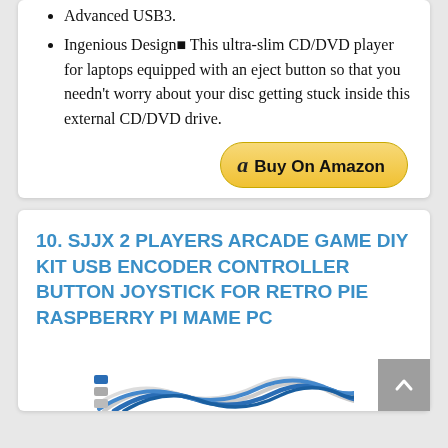Advanced USB3.
Ingenious Design■ This ultra-slim CD/DVD player for laptops equipped with an eject button so that you needn’t worry about your disc getting stuck inside this external CD/DVD drive.
[Figure (other): Buy On Amazon button with Amazon logo]
10. SJJX 2 PLAYERS ARCADE GAME DIY KIT USB ENCODER CONTROLLER BUTTON JOYSTICK FOR RETRO PIE RASPBERRY PI MAME PC
[Figure (photo): Product photo of blue and white wires/cables for arcade game controller kit]